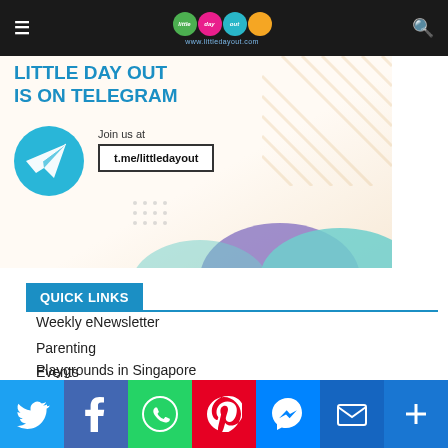little day out — www.littledayout.com
[Figure (infographic): Little Day Out is on Telegram promotional banner. Telegram logo icon, text 'Join us at t.me/littledayout', colorful hills decoration at bottom.]
QUICK LINKS
Weekly eNewsletter
Parenting
Events
Easy Recipes
Parks in Singapore
Playgrounds in Singapore
[Figure (screenshot): Social sharing bar with Twitter, Facebook, WhatsApp, Pinterest, Messenger, Email, and More (+) buttons]